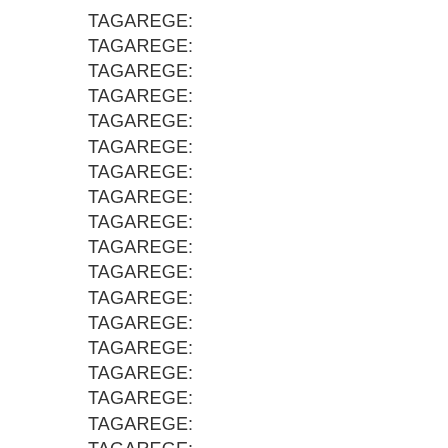TAGAREGE:
TAGAREGE:
TAGAREGE:
TAGAREGE:
TAGAREGE:
TAGAREGE:
TAGAREGE:
TAGAREGE:
TAGAREGE:
TAGAREGE:
TAGAREGE:
TAGAREGE:
TAGAREGE:
TAGAREGE:
TAGAREGE:
TAGAREGE:
TAGAREGE:
TAGAREGE:
TAGAREGE:
TAGAREGE:
TAGAREGE:
TAGAREGE: